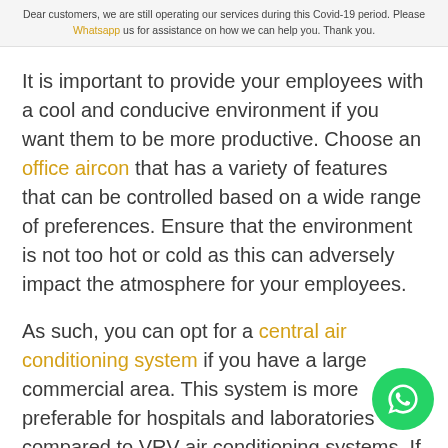Dear customers, we are still operating our services during this Covid-19 period. Please Whatsapp us for assistance on how we can help you. Thank you.
It is important to provide your employees with a cool and conducive environment if you want them to be more productive. Choose an office aircon that has a variety of features that can be controlled based on a wide range of preferences. Ensure that the environment is not too hot or cold as this can adversely impact the atmosphere for your employees.
As such, you can opt for a central air conditioning system if you have a large commercial area. This system is more preferable for hospitals and laboratories compared to VRV air conditioning systems. If you're looking for